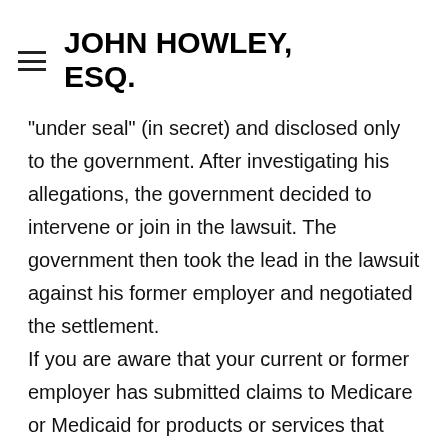JOHN HOWLEY, ESQ.
“under seal” (in secret) and disclosed only to the government.  After investigating his allegations, the government decided to intervene or join in the lawsuit.  The government then took the lead in the lawsuit against his former employer and negotiated the settlement.
If you are aware that your current or former employer has submitted claims to Medicare or Medicaid for products or services that were not necessary or not actually provided, then you should consult with an experienced Medicare whistleblower attorney immediately.  You may be entitled to a